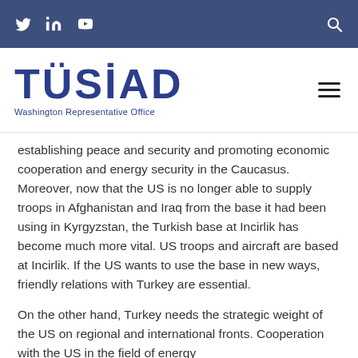TÜSİAD Washington Representative Office — top navigation bar with Twitter, LinkedIn, YouTube icons and search icon
[Figure (logo): TÜSİAD Washington Representative Office logo with blue bold text and subtitle]
establishing peace and security and promoting economic cooperation and energy security in the Caucasus. Moreover, now that the US is no longer able to supply troops in Afghanistan and Iraq from the base it had been using in Kyrgyzstan, the Turkish base at Incirlik has become much more vital. US troops and aircraft are based at Incirlik. If the US wants to use the base in new ways, friendly relations with Turkey are essential.
On the other hand, Turkey needs the strategic weight of the US on regional and international fronts. Cooperation with the US in the field of energy